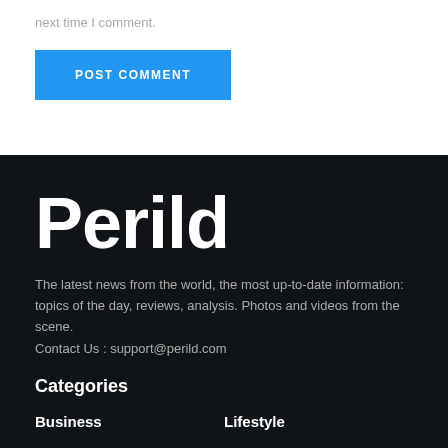next time I comment.
POST COMMENT
Perild
The latest news from the world, the most up-to-date information: topics of the day, reviews, analysis. Photos and videos from the scene.
Contact Us : support@perild.com
Categories
Business
Lifestyle